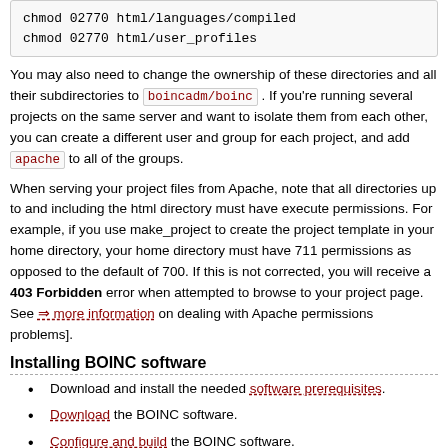chmod 02770 html/languages/compiled
chmod 02770 html/user_profiles
You may also need to change the ownership of these directories and all their subdirectories to boincadm/boinc. If you're running several projects on the same server and want to isolate them from each other, you can create a different user and group for each project, and add apache to all of the groups.
When serving your project files from Apache, note that all directories up to and including the html directory must have execute permissions. For example, if you use make_project to create the project template in your home directory, your home directory must have 711 permissions as opposed to the default of 700. If this is not corrected, you will receive a 403 Forbidden error when attempted to browse to your project page. See more information on dealing with Apache permissions problems].
Installing BOINC software
Download and install the needed software prerequisites.
Download the BOINC software.
Configure and build the BOINC software.
Operating system configuration
Some parts of the BOINC server (the feeder and scheduling server) use shared memory. Hosts where these run must have shared memory enabled, with a maximum segment size of at least